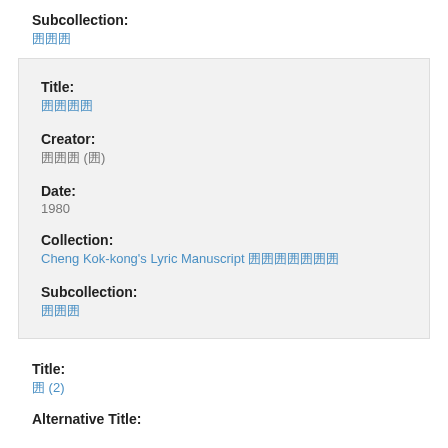Subcollection:
囲囲囲
Title:
囲囲囲囲
Creator:
囲囲囲 (囲)
Date:
1980
Collection:
Cheng Kok-kong's Lyric Manuscript 囲囲囲囲囲囲囲
Subcollection:
囲囲囲
Title:
囲 (2)
Alternative Title: